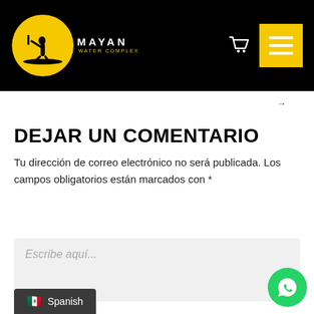[Figure (logo): Mayan Water Complex logo: yellow circle with black silhouette of person on paddleboard, text MAYAN WATER COMPLEX below]
[Figure (other): Yellow menu button with three white horizontal lines]
→
DEJAR UN COMENTARIO
Tu dirección de correo electrónico no será publicada. Los campos obligatorios están marcados con *
[Figure (other): Comment text area input with placeholder 'Escribe aquí...']
🇲🇽 Spanish
[Figure (other): WhatsApp green circle button with phone icon]